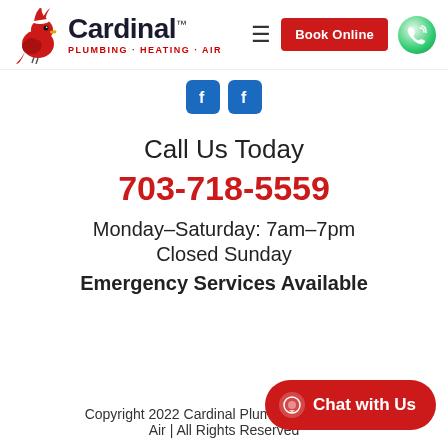[Figure (logo): Cardinal Plumbing Heating Air logo with red cardinal bird and company name]
[Figure (infographic): Two blue Facebook-style social media icon buttons]
Call Us Today
703-718-5559
Monday–Saturday: 7am–7pm
Closed Sunday
Emergency Services Available
Copyright 2022 Cardinal Plumbing Heating & Air | All Rights Reserved
[Figure (infographic): Red Chat with Us button overlay in bottom right corner]